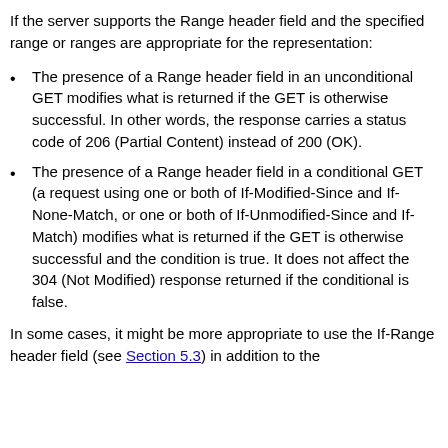If the server supports the Range header field and the specified range or ranges are appropriate for the representation:
The presence of a Range header field in an unconditional GET modifies what is returned if the GET is otherwise successful. In other words, the response carries a status code of 206 (Partial Content) instead of 200 (OK).
The presence of a Range header field in a conditional GET (a request using one or both of If-Modified-Since and If-None-Match, or one or both of If-Unmodified-Since and If-Match) modifies what is returned if the GET is otherwise successful and the condition is true. It does not affect the 304 (Not Modified) response returned if the conditional is false.
In some cases, it might be more appropriate to use the If-Range header field (see Section 5.3) in addition to the